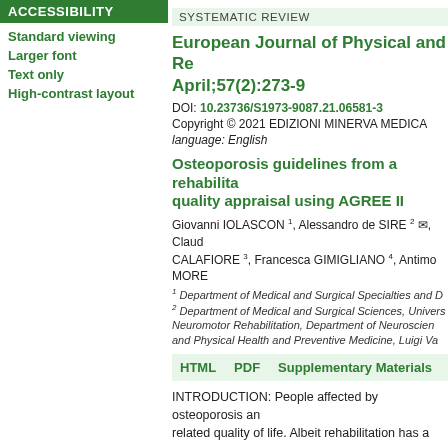ACCESSIBILITY
Standard viewing
Larger font
Text only
High-contrast layout
SYSTEMATIC REVIEW
European Journal of Physical and Re April;57(2):273-9
DOI: 10.23736/S1973-9087.21.06581-3
Copyright © 2021 EDIZIONI MINERVA MEDICA
language: English
Osteoporosis guidelines from a rehabilita quality appraisal using AGREE II
Giovanni IOLASCON 1, Alessandro de SIRE 2 ✉, Claud CALAFIORE 3, Francesca GIMIGLIANO 4, Antimo MORE
1 Department of Medical and Surgical Specialties and D 2 Department of Medical and Surgical Sciences, Univers Neuromotor Rehabilitation, Department of Neuroscien and Physical Health and Preventive Medicine, Luigi Va
HTML    PDF    Supplementary Materials
INTRODUCTION: People affected by osteoporosis an related quality of life. Albeit rehabilitation has a cruc